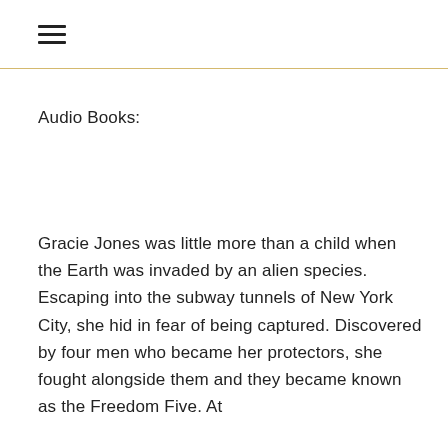≡
Audio Books:
Gracie Jones was little more than a child when the Earth was invaded by an alien species. Escaping into the subway tunnels of New York City, she hid in fear of being captured. Discovered by four men who became her protectors, she fought alongside them and they became known as the Freedom Five. At